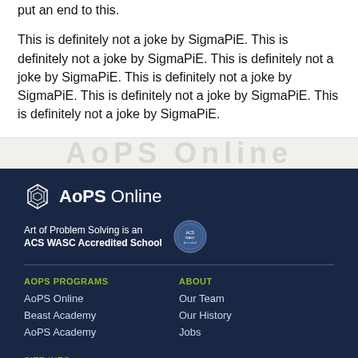put an end to this.
This is definitely not a joke by SigmaPiE. This is definitely not a joke by SigmaPiE. This is definitely not a joke by SigmaPiE. This is definitely not a joke by SigmaPiE. This is definitely not a joke by SigmaPiE. This is definitely not a joke by SigmaPiE.
[Figure (other): Watermark band with faint repeated text]
AoPS Online — Art of Problem Solving is an ACS WASC Accredited School. AOPS PROGRAMS: AoPS Online, Beast Academy, AoPS Academy. ABOUT: Our Team, Our History, Jobs. SITE INFO: Terms, Privacy